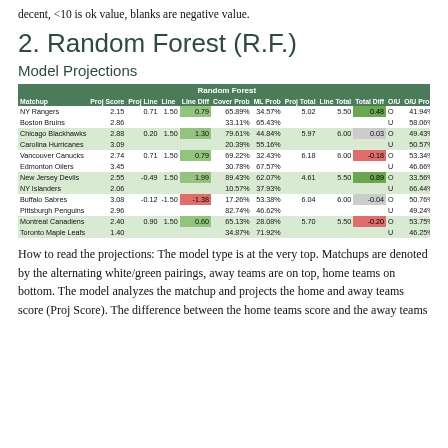decent, <10 is ok value, blanks are negative value.
2. Random Forest (R.F.)
Model Projections
| Matchup | Proj Score | Proj Line | Line | Line Diff | Cover Prob | ML Prob | Proj Total | Line Total | Total Diff | O/U | O/U Prob |
| --- | --- | --- | --- | --- | --- | --- | --- | --- | --- | --- | --- |
| NY Rangers | 2.15 | 0.71 | 1.50 | 0.79 | 65.89% | 34.57% | 5.02 | 5.50 | 0.48 | O | 41.94% |
| Boston Bruins | 2.86 |  |  |  | 33.11% | 65.43% |  |  |  | U | 58.06% |
| Chicago Blackhawks | 2.88 | 0.20 | 1.50 | 1.30 | 79.61% | 44.84% | 5.97 | 6.00 | 0.03 | O | 49.43% |
| Carolina Hurricanes | 3.09 |  |  |  | 20.39% | 55.16% |  |  |  | U | 50.57% |
| Vancouver Canucks | 2.74 | 0.71 | 1.50 | 0.79 | 69.22% | 32.43% | 6.18 | 6.00 | -0.18 | O | 53.34% |
| Edmonton Oilers | 3.45 |  |  |  | 30.78% | 67.57% |  |  |  | U | 46.66% |
| New Jersey Devils | 2.55 | -0.49 | 1.50 | 1.99 | 89.43% | 62.07% | 4.61 | 5.50 | 0.89 | O | 33.56% |
| NY Islanders | 2.06 |  |  |  | 10.57% | 37.93% |  |  |  | U | 66.44% |
| Buffalo Sabres | 3.08 | -0.12 | -1.50 | -1.38 | 17.26% | 53.38% | 6.04 | 6.00 | -0.04 | O | 50.76% |
| Pittsburgh Penguins | 2.96 |  |  |  | 82.74% | 46.62% |  |  |  | U | 49.24% |
| Montreal Canadiens | 2.40 | 0.90 | 1.50 | 0.60 | 65.13% | 28.08% | 5.70 | 5.50 | -0.20 | O | 53.75% |
| Toronto Maple Leafs | 1.40 |  |  |  | 34.87% | 71.92% |  |  |  | U | 46.25% |
How to read the projections: The model type is at the very top. Matchups are denoted by the alternating white/green pairings, away teams are on top, home teams on bottom. The model analyzes the matchup and projects the home and away teams score (Proj Score). The difference between the home teams score and the away teams